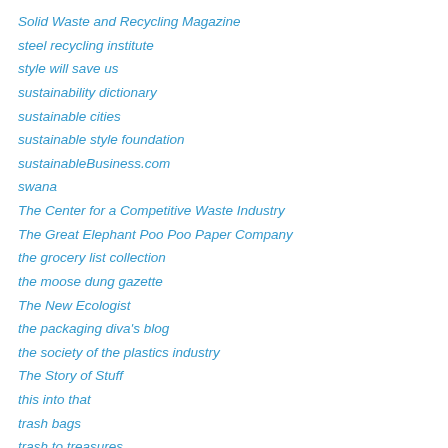Solid Waste and Recycling Magazine
steel recycling institute
style will save us
sustainability dictionary
sustainable cities
sustainable style foundation
sustainableBusiness.com
swana
The Center for a Competitive Waste Industry
The Great Elephant Poo Poo Paper Company
the grocery list collection
the moose dung gazette
The New Ecologist
the packaging diva's blog
the society of the plastics industry
The Story of Stuff
this into that
trash bags
trash to treasures
trashformacione